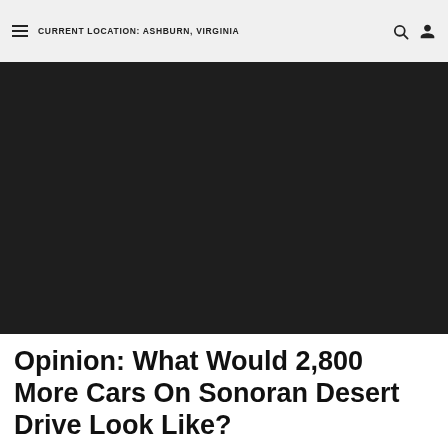CURRENT LOCATION: ASHBURN, VIRGINIA
[Figure (photo): Large dark/black hero image area, nearly fully dark with no visible content]
Opinion: What Would 2,800 More Cars On Sonoran Desert Drive Look Like?